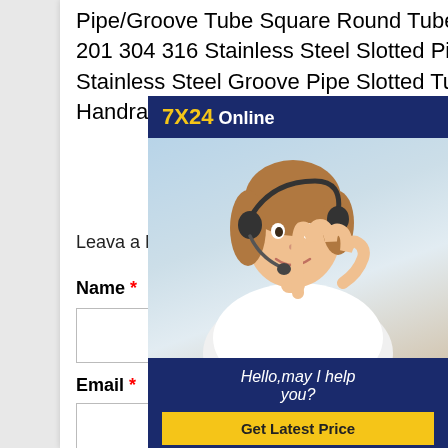Pipe/Groove Tube Square Round Tube for Handrail . China 201 304 316 Stainless Steel Slotted Pipe 201 304 316 Stainless Steel Groove Pipe Slotted Tube for Handrail
[Figure (illustration): Chat support widget with '7X24 Online' header, photo of woman with headset, text 'Hello,may I help you?' and 'Get Latest Price' button]
Leava a Message:
Name *
Email *
Tel *